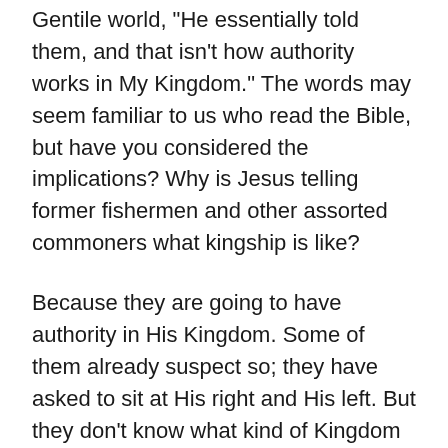Gentile world, 'He essentially told them, and that isn't how authority works in My Kingdom.' The words may seem familiar to us who read the Bible, but have you considered the implications? Why is Jesus telling former fishermen and other assorted commoners what kingship is like?
Because they are going to have authority in His Kingdom. Some of them already suspect so; they have asked to sit at His right and His left. But they don't know what kind of Kingdom this will be, and they certainly don't understand their role in it. They still have no real sense of the Kingdom culture. Even so, they are being prepared to rule – at least by The King's definition of ruling.
“The kings of the Gentiles lord it over them…but you are